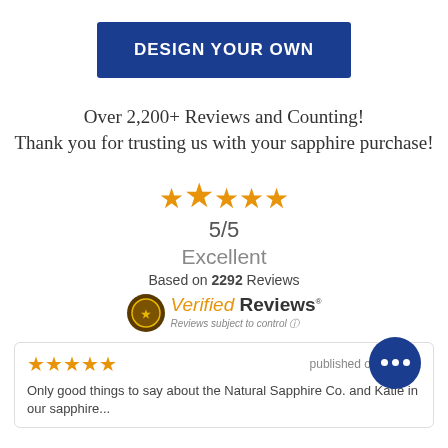DESIGN YOUR OWN
Over 2,200+ Reviews and Counting! Thank you for trusting us with your sapphire purchase!
[Figure (infographic): Five orange stars (5/5 rating), with the middle star slightly larger. Below: 5/5 score, 'Excellent' label, 'Based on 2292 Reviews', and Verified Reviews logo with tagline.]
5/5
Excellent
Based on 2292 Reviews
[Figure (logo): Verified Reviews logo with badge and italic/bold text, subtitle: Reviews subject to control]
published on 8/22/22
Only good things to say about the Natural Sapphire Co. and Katie in our sapphire...